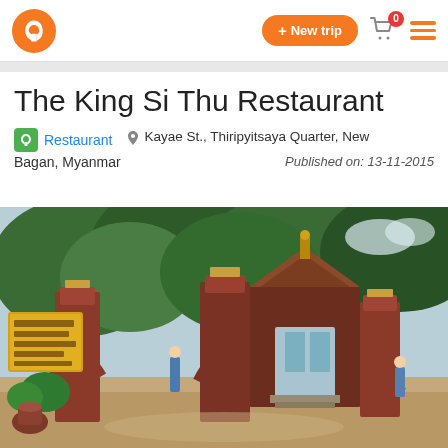Navigation bar with logo, + New trip button, cart icon with badge 0, hamburger menu
The King Si Thu Restaurant
Restaurant  •  Kayae St., Thiripyitsaya Quarter, New Bagan, Myanmar  •  Published on: 13-11-2015
[Figure (photo): Entrance of The King Si Thu Restaurant in Bagan, Myanmar — red brick archway gates with traditional Burmese wooden pavilion roof, yellow sign, lush trees in background]